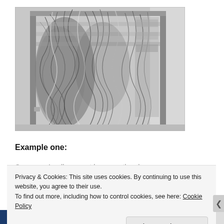[Figure (photo): Photograph of a server rack or computing equipment with an extremely large tangle of cables and wires covering the front of the rack units.]
Example one:
Company A calls me out because they have many...
Privacy & Cookies: This site uses cookies. By continuing to use this website, you agree to their use.
To find out more, including how to control cookies, see here: Cookie Policy